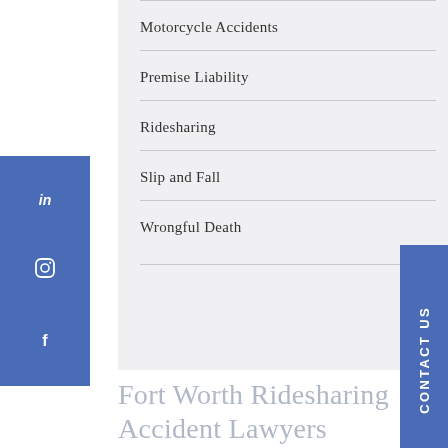Motorcycle Accidents
Premise Liability
Ridesharing
Slip and Fall
Wrongful Death
Fort Worth Ridesharing Accident Lawyers